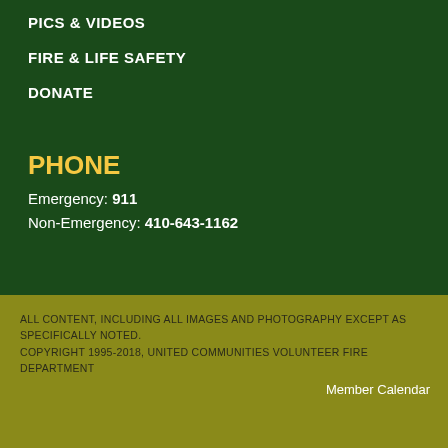PICS & VIDEOS
FIRE & LIFE SAFETY
DONATE
PHONE
Emergency: 911
Non-Emergency: 410-643-1162
ALL CONTENT, INCLUDING ALL IMAGES AND PHOTOGRAPHY EXCEPT AS SPECIFICALLY NOTED.
COPYRIGHT 1995-2018, UNITED COMMUNITIES VOLUNTEER FIRE DEPARTMENT
Member Calendar
[Figure (logo): First Arriving logo — red shield with star, white italic 'First Arriving' text, orange subtitle 'MARKETING & TECHNOLOGY FOR FIRE/EMS']